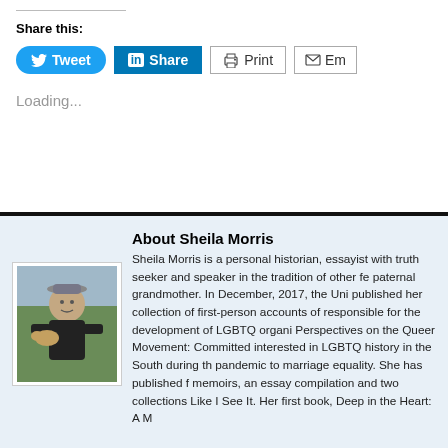Share this:
[Figure (screenshot): Social sharing buttons: Tweet (Twitter/blue), Share (LinkedIn/blue), Print (printer icon), Email (envelope icon, partially visible)]
Loading...
[Figure (photo): Photo of Sheila Morris, a woman wearing a cap and vest, holding a dog outdoors]
About Sheila Morris
Sheila Morris is a personal historian, essayist with truth seeker and speaker in the tradition of other fe paternal grandmother. In December, 2017, the Uni published her collection of first-person accounts of responsible for the development of LGBTQ organi Perspectives on the Queer Movement: Committed interested in LGBTQ history in the South during th pandemic to marriage equality. She has published f memoirs, an essay compilation and two collections Like I See It. Her first book, Deep in the Heart: A M